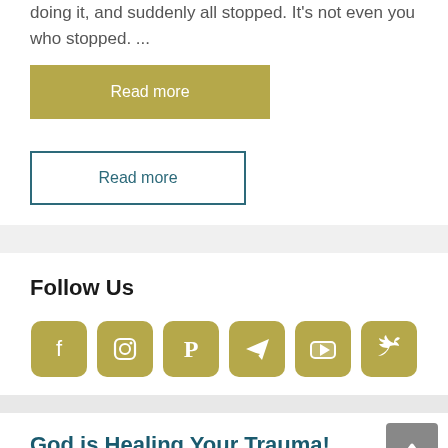doing it, and suddenly all stopped. It's not even you who stopped. ...
Read more
Read more
Follow Us
[Figure (infographic): Six social media icon buttons in gold/tan color: Facebook, Instagram, Pinterest, Telegram, YouTube, Twitter]
God is Healing Your Trauma! Rapping for Jesus!